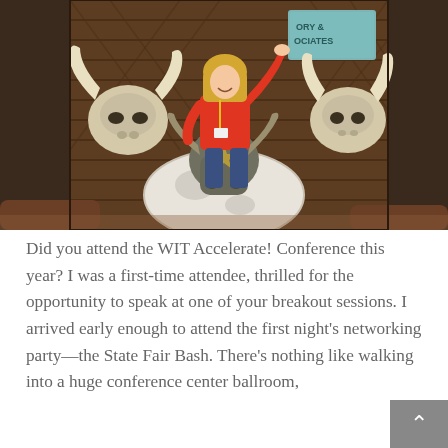[Figure (photo): Woman in a red sleeveless top and jeans sitting on a mechanical bull ride at a State Fair themed event. The background shows a wooden barn-style wall decorated with longhorn skull mounts. A sign partially reads 'ORY & OCIATES'. The woman is smiling and raising one hand.]
Did you attend the WIT Accelerate! Conference this year? I was a first-time attendee, thrilled for the opportunity to speak at one of your breakout sessions. I arrived early enough to attend the first night's networking party—the State Fair Bash. There's nothing like walking into a huge conference center ballroom,